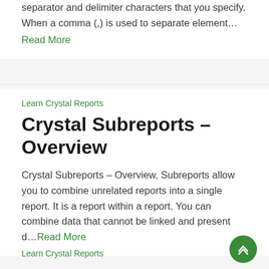separator and delimiter characters that you specify. When a comma (,) is used to separate element…
Read More
Learn Crystal Reports
Crystal Subreports – Overview
Crystal Subreports – Overview, Subreports allow you to combine unrelated reports into a single report. It is a report within a report. You can combine data that cannot be linked and present d…Read More
Learn Crystal Reports